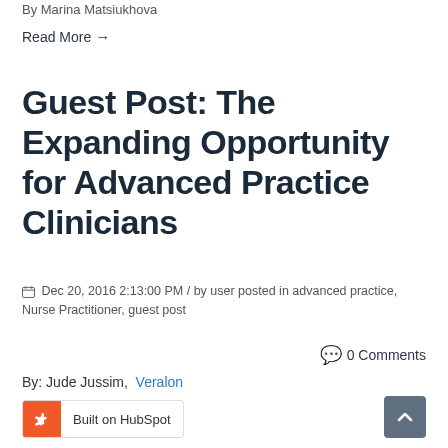By Marina Matsiukhova
Read More →
Guest Post: The Expanding Opportunity for Advanced Practice Clinicians
📅 Dec 20, 2016 2:13:00 PM / by user posted in advanced practice, Nurse Practitioner, guest post
💬 0 Comments
By: Jude Jussim,  Veralon
Read More →